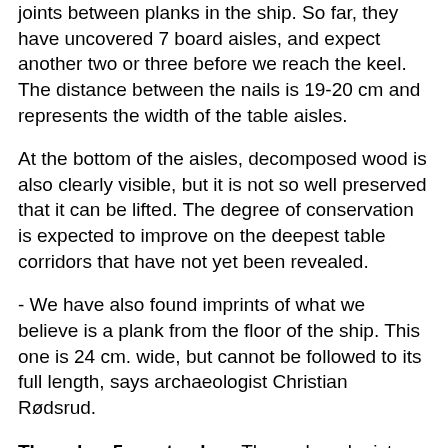joints between planks in the ship. So far, they have uncovered 7 board aisles, and expect another two or three before we reach the keel. The distance between the nails is 19-20 cm and represents the width of the table aisles.
At the bottom of the aisles, decomposed wood is also clearly visible, but it is not so well preserved that it can be lifted. The degree of conservation is expected to improve on the deepest table corridors that have not yet been revealed.
- We have also found imprints of what we believe is a plank from the floor of the ship. This one is 24 cm. wide, but cannot be followed to its full length, says archaeologist Christian Rødsrud.
Thursday, 5. september: The archaeologists found